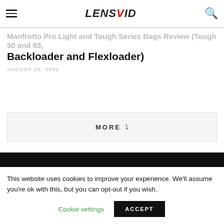LENSVID
Manfrotto Pro Light and Tough Series Bags Review (Tough 50 and 83, Backloader and Flexloader)
AUGUST 10, 2022
MORE ∨
[Figure (other): Black background band / video thumbnail area]
This website uses cookies to improve your experience. We'll assume you're ok with this, but you can opt-out if you wish.
Cookie settings   ACCEPT